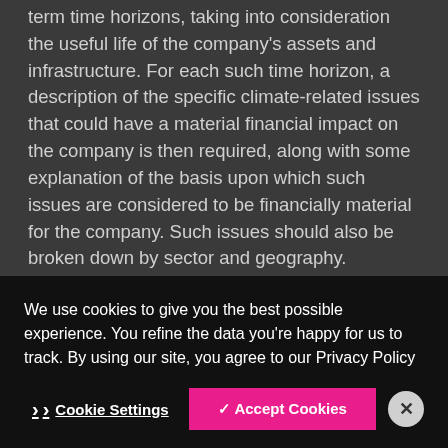term time horizons, taking into consideration the useful life of the company's assets and infrastructure. For each such time horizon, a description of the specific climate-related issues that could have a material financial impact on the company is then required, along with some explanation of the basis upon which such issues are considered to be financially material for the company. Such issues should also be broken down by sector and geography.
(b) Describe the impact of climate-related risks and opportunities on the organization's businesses, strategy and financial planning
We use cookies to give you the best possible experience. You refine the data you're happy for us to track. By using our site, you agree to our Privacy Policy